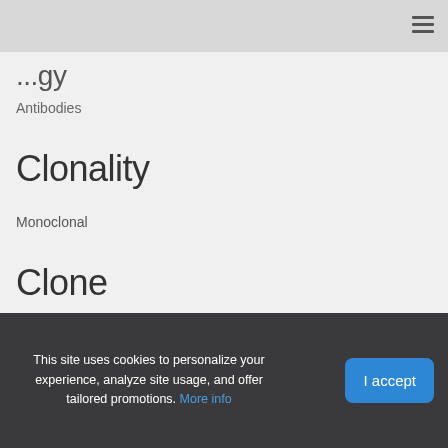≡
...gory
Antibodies
Clonality
Monoclonal
Clone
(#MAB0705)
This site uses cookies to personalize your experience, analyze site usage, and offer tailored promotions. More info
I accept